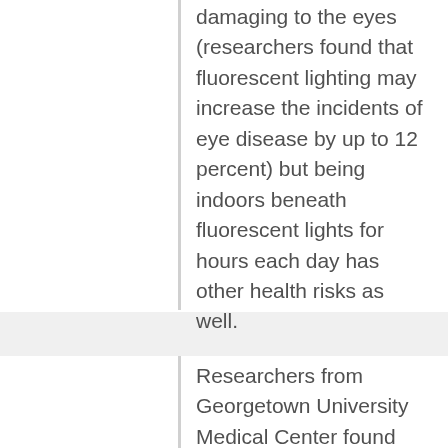damaging to the eyes (researchers found that fluorescent lighting may increase the incidents of eye disease by up to 12 percent) but being indoors beneath fluorescent lights for hours each day has other health risks as well.
Researchers from Georgetown University Medical Center found blue